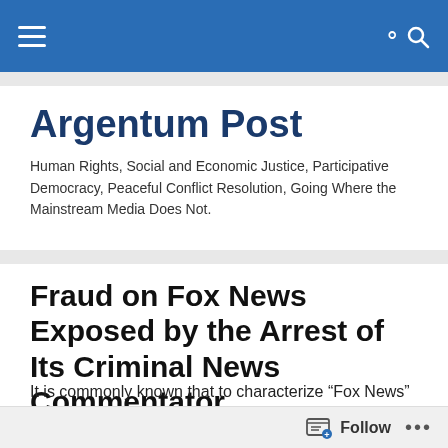Argentum Post — navigation bar
Argentum Post
Human Rights, Social and Economic Justice, Participative Democracy, Peaceful Conflict Resolution, Going Where the Mainstream Media Does Not.
Fraud on Fox News Exposed by the Arrest of Its Criminal News Commentator
It is commonly known that to characterize “Fox News” as a credit worthy news organization is risible and highly
Follow …